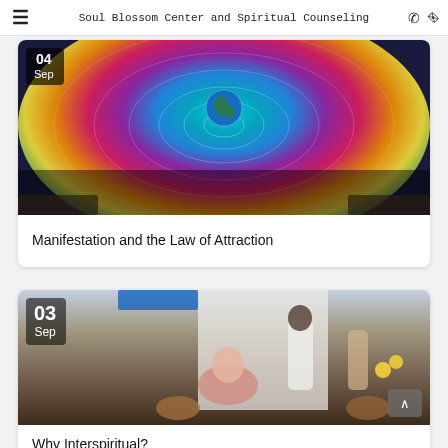Soul Blossom Center and Spiritual Counseling
[Figure (photo): Colorful cosmic energy web illustration with a glowing Earth at center and many hands holding threads of the web, with rainbow spectrum radiating outward. Date badge showing Sep in top-left.]
Manifestation and the Law of Attraction
[Figure (photo): Indoor gathering photo showing a woman in pink clothing seated on the floor with baskets and sunflowers, others standing behind her in white clothing. Date badge showing 03 Sep in top-left. Scroll-to-top button at bottom-right.]
Why Interspiritual?